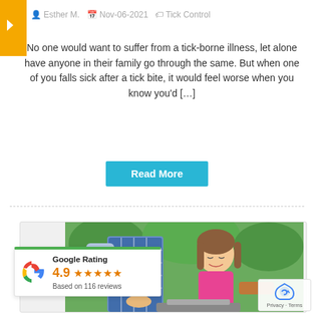Esther M.  Nov-06-2021  Tick Control
No one would want to suffer from a tick-borne illness, let alone have anyone in their family go through the same. But when one of you falls sick after a tick bite, it would feel worse when you know you’d […]
Read More
[Figure (photo): Family barbecue scene with adults and a smiling girl in a denim apron outdoors]
Google Rating
4.9
Based on 116 reviews